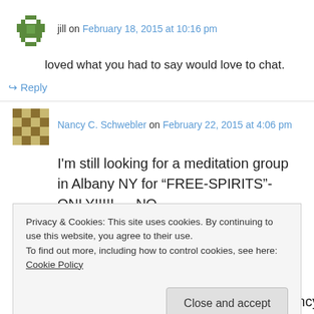jill on February 18, 2015 at 10:16 pm
loved what you had to say would love to chat.
↪ Reply
Nancy C. Schwebler on February 22, 2015 at 4:06 pm
I'm still looking for a meditation group in Albany NY for “FREE-SPIRITS”-ONLY!!!!!…..NO
Privacy & Cookies: This site uses cookies. By continuing to use this website, you agree to their use.
To find out more, including how to control cookies, see here: Cookie Policy
Close and accept
kind of reminds me of that(sort of.) -Nancy C.